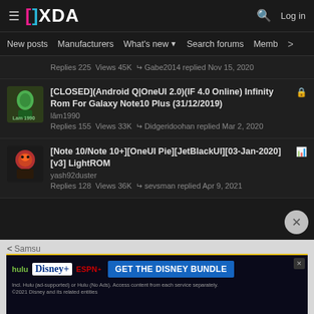XDA Developers - hamburger menu, logo, search icon, Log in
New posts  Manufacturers  What's new  Search forums  Members  >
Replies 225  Views 45K  ↩ Gabe2014 replied Nov 15, 2020
[CLOSED](Android Q|OneUI 2.0)(IF 4.0 Online) Infinity Rom For Galaxy Note10 Plus (31/12/2019)
lâm1990
Replies 155  Views 33K  ↩ Didgeridoohan replied Mar 2, 2020
[Note 10/Note 10+][OneUI Pie][JetBlackUI][03-Jan-2020][v3] LightROM
yash92duster
Replies 128  Views 36K  ↩ sevsman replied Apr 9, 2021
[Figure (screenshot): Disney Bundle advertisement banner with Hulu, Disney+, ESPN+ logos and GET THE DISNEY BUNDLE call to action button]